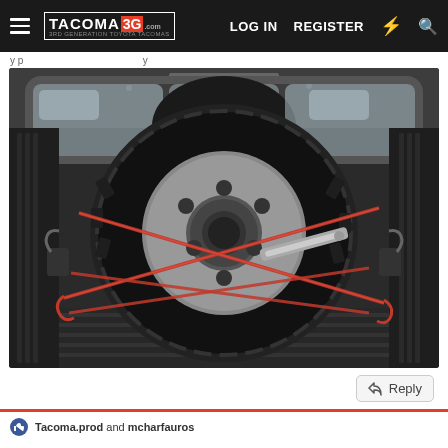TACOMA 3G - LOG IN  REGISTER
y p ... y
[Figure (photo): Spare tire secured in the bed of a Toyota Tacoma pickup truck with red ratchet straps crossed over the tire, viewed from behind inside the bed with the camper shell window visible above.]
Reply
Tacoma.prod and mcharfauros